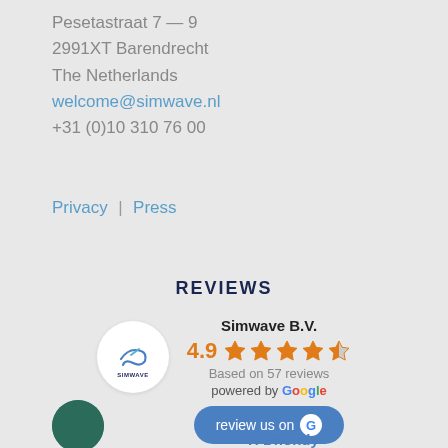Pesetastraat 7 – 9
2991XT Barendrecht
The Netherlands
welcome@simwave.nl
+31 (0)10 310 76 00
Privacy | Press
REVIEWS
[Figure (logo): Simwave logo in a white circle]
Simwave B.V. 4.9 stars Based on 57 reviews powered by Google
[Figure (other): review us on Google button]
H Dhondy